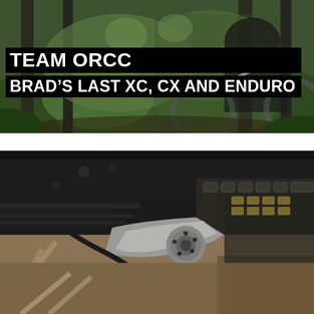[Figure (photo): Mountain biker riding through a green forest trail, wearing dark cycling gear on a mountain bike]
TEAM ORCC
BRAD'S LAST XC, CX AND ENDURO
[Figure (photo): Close-up macro photograph of a bicycle rear cassette, chain, and derailleur components showing mechanical detail]